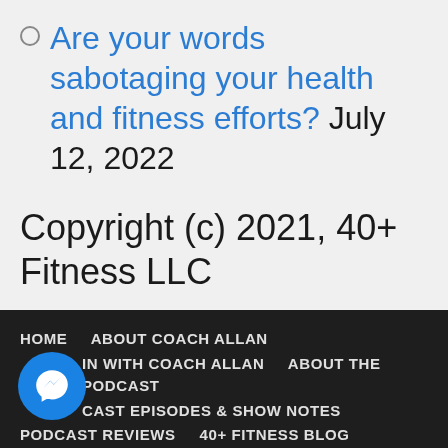Are your words sabotaging your health and fitness efforts? July 12, 2022
Copyright (c) 2021, 40+ Fitness LLC
HOME  ABOUT COACH ALLAN  IN WITH COACH ALLAN  ABOUT THE PODCAST  CAST EPISODES & SHOW NOTES  PODCAST REVIEWS  40+ FITNESS BLOG